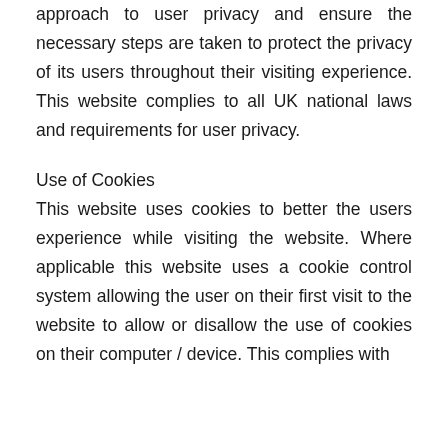approach to user privacy and ensure the necessary steps are taken to protect the privacy of its users throughout their visiting experience. This website complies to all UK national laws and requirements for user privacy.
Use of Cookies
This website uses cookies to better the users experience while visiting the website. Where applicable this website uses a cookie control system allowing the user on their first visit to the website to allow or disallow the use of cookies on their computer / device. This complies with